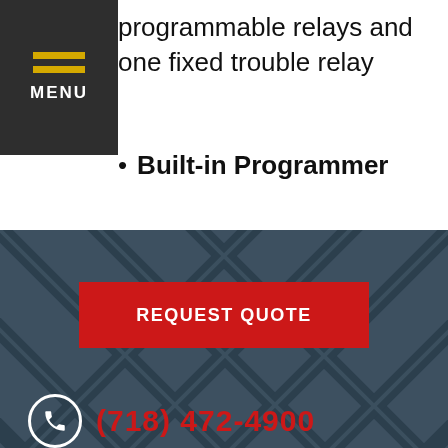[Figure (logo): Dark grey menu block with two yellow horizontal lines and MENU text]
programmable relays and one fixed trouble relay
Built-in Programmer
Integral 80-character LCD display with backlighting
[Figure (photo): Dark geometric lattice/fence pattern background with a red REQUEST QUOTE button overlaid]
(718) 472-4900